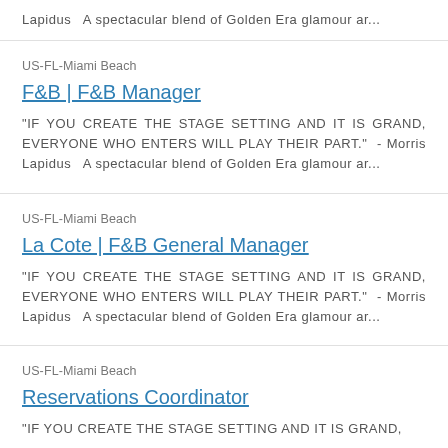Lapidus  A spectacular blend of Golden Era glamour ar...
US-FL-Miami Beach
F&B | F&B Manager
"IF YOU CREATE THE STAGE SETTING AND IT IS GRAND, EVERYONE WHO ENTERS WILL PLAY THEIR PART."  - Morris Lapidus  A spectacular blend of Golden Era glamour ar...
US-FL-Miami Beach
La Cote | F&B General Manager
"IF YOU CREATE THE STAGE SETTING AND IT IS GRAND, EVERYONE WHO ENTERS WILL PLAY THEIR PART."  - Morris Lapidus  A spectacular blend of Golden Era glamour ar...
US-FL-Miami Beach
Reservations Coordinator
"IF YOU CREATE THE STAGE SETTING AND IT IS GRAND,